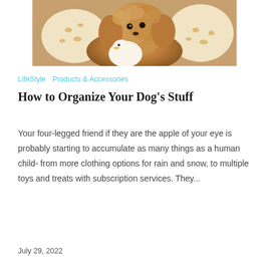[Figure (photo): A fluffy golden/brown poodle dog resting with giraffe-print plush toys on a light background]
LifeStyle   Products & Accessories
How to Organize Your Dog's Stuff
Your four-legged friend if they are the apple of your eye is probably starting to accumulate as many things as a human child- from more clothing options for rain and snow, to multiple toys and treats with subscription services. They...
July 29, 2022